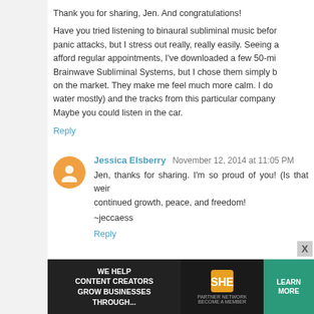Thank you for sharing, Jen. And congratulations!

Have you tried listening to binaural subliminal music before... panic attacks, but I stress out really, really easily. Seeing a... afford regular appointments, I've downloaded a few 50-mi... Brainwave Subliminal Systems, but I chose them simply b... on the market. They make me feel much more calm. I do... water mostly) and the tracks from this particular company... Maybe you could listen in the car.
Reply
Jessica Elsberry  November 12, 2014 at 11:05 PM
Jen, thanks for sharing. I'm so proud of you! (Is that weir... continued growth, peace, and freedom!

~jeccaess
Reply
Kate T  November 12, 2014 at 11:09 PM
I love you, Jen! It must be hard to share such persona... grateful that you do. Seeing you talk so openly and
[Figure (infographic): SHE Partner Network advertisement banner: woman with laptop, text 'We help content creators grow businesses through...', SHE logo, 'Learn More' green button]